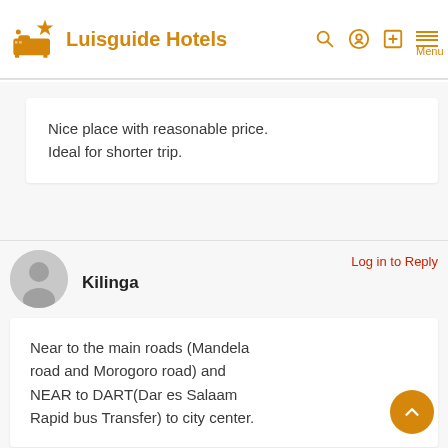Luisguide Hotels
Nice place with reasonable price. Ideal for shorter trip.
Kilinga
Log in to Reply
Near to the main roads (Mandela road and Morogoro road) and NEAR to DART(Dar es Salaam Rapid bus Transfer) to city center.